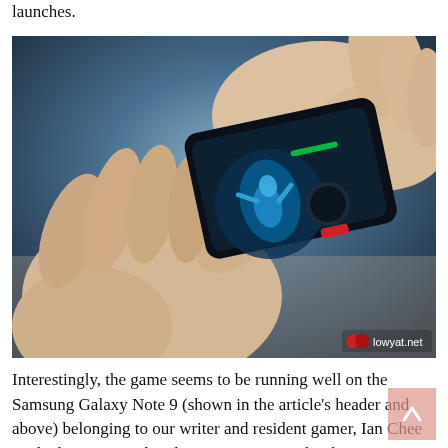launches.
[Figure (photo): Hands holding a Samsung Galaxy Note 9 horizontally, playing a mobile game with a dark blue fantasy character on screen. Watermark: lowyat.net logo in bottom right corner.]
Interestingly, the game seems to be running well on the Samsung Galaxy Note 9 (shown in the article's header and above) belonging to our writer and resident gamer, Ian Chee – which is equipped with an Exynos 9810, by the way. So far, he